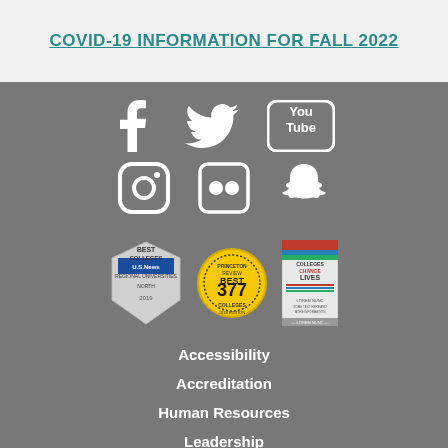COVID-19 INFORMATION FOR FALL 2022
[Figure (infographic): Social media icons: Facebook, Twitter, YouTube (top row), Instagram, Flickr, Snapchat (bottom row), shown in white on gray background]
[Figure (infographic): Three college ranking badges: US News Best Colleges, Princeton Review Best 377 Colleges, Colleges That Change Lives book cover]
Accessibility
Accreditation
Human Resources
Leadership
Travel and Maps